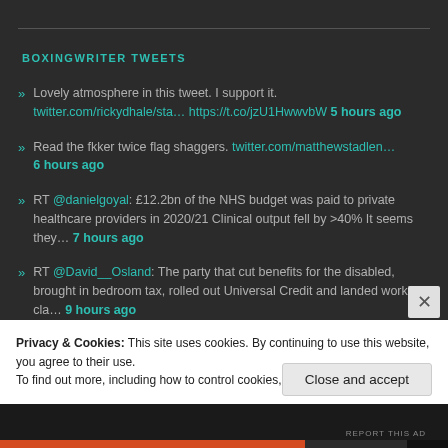BOXINGWRITER TWEETS
Lovely atmosphere in this tweet. I support it. twitter.com/rickydhale/sta… https://t.co/jzU1HwwvbW 5 hours ago
Read the fkker twice flag shaggers. twitter.com/matthewstadlen… 6 hours ago
RT @danielgoyal: £12.2bn of the NHS budget was paid to private healthcare providers in 2020/21 Clinical output fell by >40% It seems they… 7 hours ago
RT @David__Osland: The party that cut benefits for the disabled, brought in bedroom tax, rolled out Universal Credit and landed working-cla… 9 hours ago
Privacy & Cookies: This site uses cookies. By continuing to use this website, you agree to their use. To find out more, including how to control cookies, see here: Cookie Policy
Close and accept